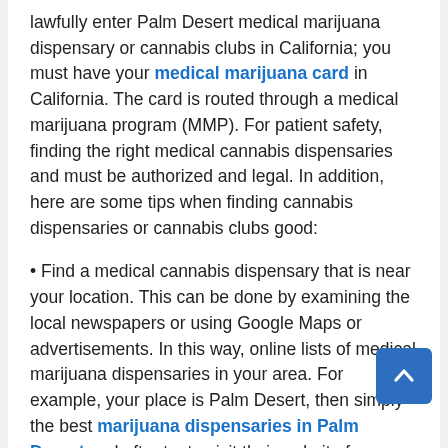lawfully enter Palm Desert medical marijuana dispensary or cannabis clubs in California; you must have your medical marijuana card in California. The card is routed through a medical marijuana program (MMP). For patient safety, finding the right medical cannabis dispensaries and must be authorized and legal. In addition, here are some tips when finding cannabis dispensaries or cannabis clubs good:
Find a medical cannabis dispensary that is near your location. This can be done by examining the local newspapers or using Google Maps or advertisements. In this way, online lists of medical marijuana dispensaries in your area. For example, your place is Palm Desert, then simply the best marijuana dispensaries in Palm Desert and after try to visit their website for important information about their products and what they have to offer. Web sites today have a representative of customer service 24 hours which will answer your question. Do